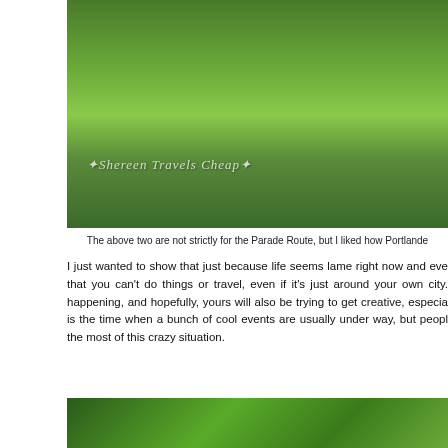[Figure (photo): Outdoor garden scene with lush green trees and shrubs on the left, wooden steps leading up to a dark painted porch with potted flowers, green grass lawn, and a concrete stepping path. Watermark text reads 'Shereen Travels Cheap'.]
The above two are not strictly for the Parade Route, but I liked how Portlande
I just wanted to show that just because life seems lame right now and eve that you can't do things or travel, even if it's just around your own city. happening, and hopefully, yours will also be trying to get creative, especia is the time when a bunch of cool events are usually under way, but peopl the most of this crazy situation.
[Figure (photo): Close-up view of green tree canopy with leaves and branches against a bright sky background.]